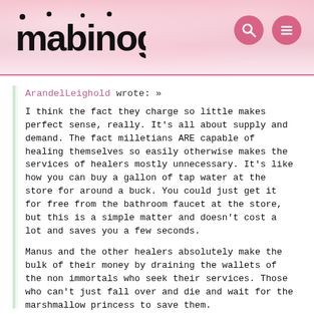mabinogi
ArandelLeighold wrote: »

I think the fact they charge so little makes perfect sense, really. It's all about supply and demand. The fact milletians ARE capable of healing themselves so easily otherwise makes the services of healers mostly unnecessary. It's like how you can buy a gallon of tap water at the store for around a buck. You could just get it for free from the bathroom faucet at the store, but this is a simple matter and doesn't cost a lot and saves you a few seconds.

Manus and the other healers absolutely make the bulk of their money by draining the wallets of the non immortals who seek their services. Those who can't just fall over and die and wait for the marshmallow princess to save them.